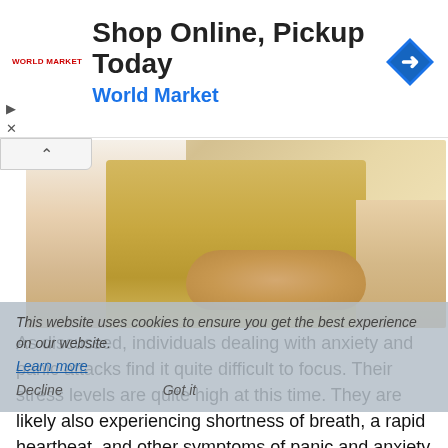[Figure (infographic): Advertisement banner for World Market: 'Shop Online, Pickup Today' with World Market logo, blue diamond icon with arrow, and navigation controls]
[Figure (photo): Photo of two people sitting on a yellow sofa, one person reaching out to hold hands with the other, suggesting a supportive or therapeutic interaction]
As discussed, individuals dealing with anxiety and panic attacks find it quite difficult to focus. Their stress levels are quite high at this time. They are likely also experiencing shortness of breath, a rapid heartbeat, and other symptoms of panic and anxiety. Some patients report having trouble following complicated instructions or understanding what others are trying to tell them during an anxiety or panic attack. Thus, it can help if you always speak in simple sentences to someone having an anxiety or